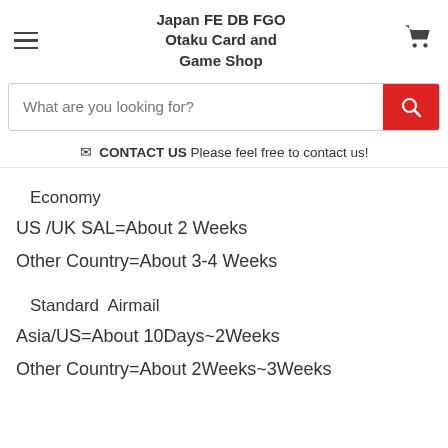Japan FE DB FGO Otaku Card and Game Shop
What are you looking for?
✉ CONTACT US Please feel free to contact us!
Economy
US /UK SAL=About 2 Weeks
Other Country=About 3-4 Weeks
Standard  Airmail
Asia/US=About 10Days~2Weeks
Other Country=About 2Weeks~3Weeks